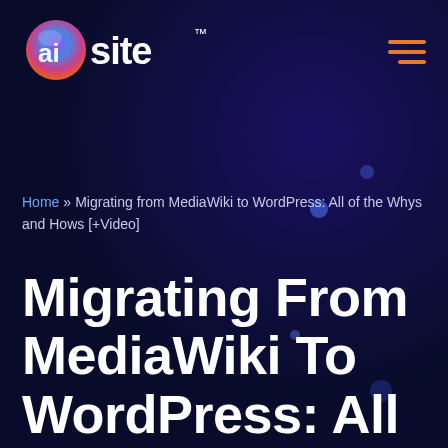aisite™ [navigation logo and hamburger menu]
Home » Migrating from MediaWiki to WordPress: All of the Whys and Hows [+Video]
Migrating From MediaWiki To WordPress: All Of The Whys And Hows